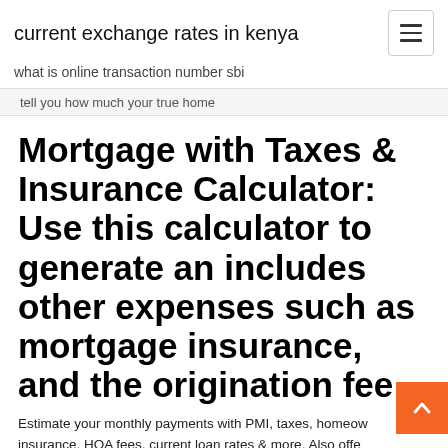current exchange rates in kenya
what is online transaction number sbi
tell you how much your true home
Mortgage with Taxes & Insurance Calculator: Use this calculator to generate an includes other expenses such as mortgage insurance, and the origination fee
Estimate your monthly payments with PMI, taxes, homeow insurance, HOA fees, current loan rates & more. Also offe